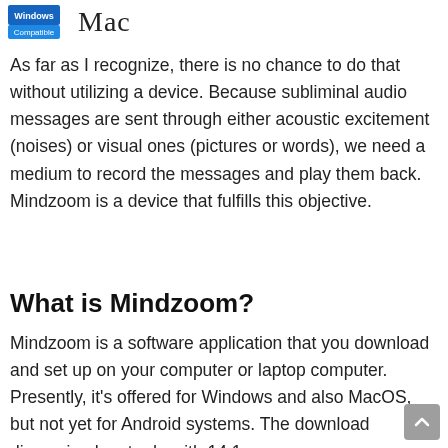[Figure (logo): Windows Compatible badge logo and Mac text logo side by side]
As far as I recognize, there is no chance to do that without utilizing a device. Because subliminal audio messages are sent through either acoustic excitement (noises) or visual ones (pictures or words), we need a medium to record the messages and play them back. Mindzoom is a device that fulfills this objective.
What is Mindzoom?
Mindzoom is a software application that you download and set up on your computer or laptop computer. Presently, it's offered for Windows and also MacOS, but not yet for Android systems. The download dimension has to do with 14.1